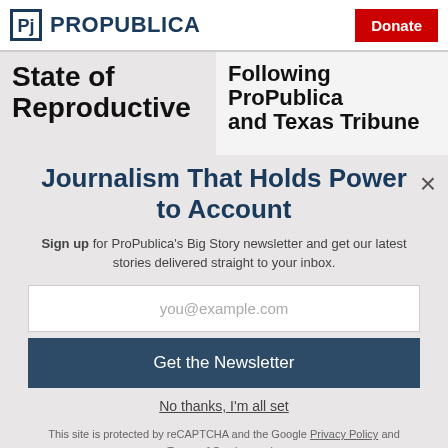ProPublica | Donate
State of Reproductive
Following ProPublica and Texas Tribune
Journalism That Holds Power to Account
Sign up for ProPublica's Big Story newsletter and get our latest stories delivered straight to your inbox.
you@example.com
Get the Newsletter
No thanks, I'm all set
This site is protected by reCAPTCHA and the Google Privacy Policy and Terms of Service apply.